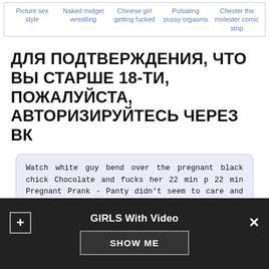Picture sex style | Naked midget wrestling | Chinese girl getting fucked | Pulsating pussy orgasms | Chester the molester comic strip
ДЛЯ ПОДТВЕРЖДЕНИЯ, ЧТО ВЫ СТАРШЕ 18-ТИ, ПОЖАЛУЙСТА, АВТОРИЗИРУЙТЕСЬ ЧЕРЕЗ ВК
Watch white guy bend over the pregnant black chick Chocolate and fucks her 22 min p 22 min Pregnant Prank - Panty didn't seem to care and brushed it off. Fuck the Princess in a haunted mansion. Sexy black woman with dripping nipples gets fucked by a white man 10 min p 10 min Heatwave Video - Login or sign up. As a result, he is bullied by students at higher levels of the hierarchy.
GIRLS With Video
SHOW ME